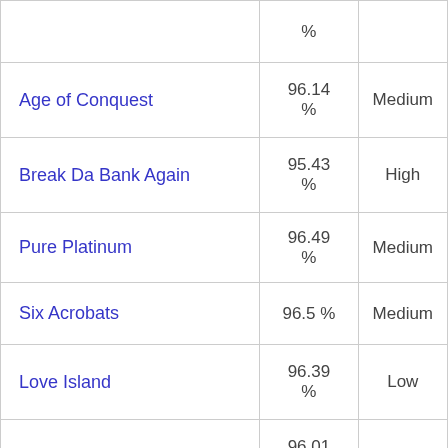| Game Name | RTP % | Volatility |
| --- | --- | --- |
|  | % |  |
| Age of Conquest | 96.14 % | Medium |
| Break Da Bank Again | 95.43 % | High |
| Pure Platinum | 96.49 % | Medium |
| Six Acrobats | 96.5 % | Medium |
| Love Island | 96.39 % | Low |
| Forbidden Throne | 96.01 % | Medium |
| Reel Talent | 96.03 % | High |